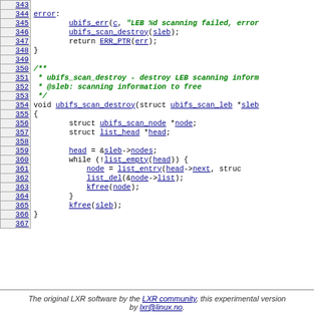[Figure (screenshot): Source code listing (C language, LXR cross-reference) showing lines 343-367 of a UBIFS kernel file, including error label, ubifs_scan_destroy function definition with struct declarations, head/nodes pointer, while loop using list_empty/list_entry/list_del/kfree, and closing brace.]
The original LXR software by the LXR community, this experimental version by lxr@linux.no.